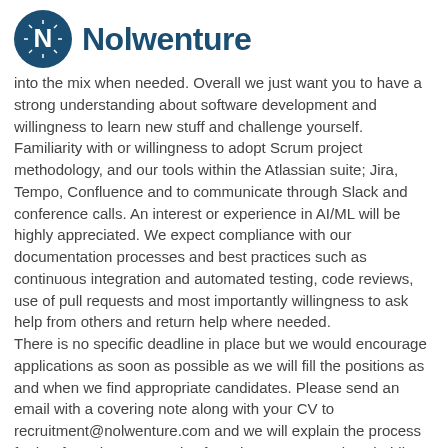Nolwenture
into the mix when needed. Overall we just want you to have a strong understanding about software development and willingness to learn new stuff and challenge yourself. Familiarity with or willingness to adopt Scrum project methodology, and our tools within the Atlassian suite; Jira, Tempo, Confluence and to communicate through Slack and conference calls. An interest or experience in AI/ML will be highly appreciated. We expect compliance with our documentation processes and best practices such as continuous integration and automated testing, code reviews, use of pull requests and most importantly willingness to ask help from others and return help where needed.
There is no specific deadline in place but we would encourage applications as soon as possible as we will fill the positions as and when we find appropriate candidates. Please send an email with a covering note along with your CV to recruitment@nolwenture.com and we will explain the process further from there onwards. If you have any questions holding you back from applying contact Rob Connell, CEO of Nolwenture: rob.connell@nolwenture.com.